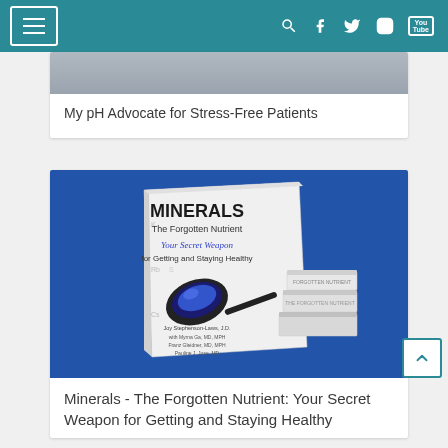Navigation bar with menu icon, search, Facebook, Twitter, Instagram, YouTube
[Figure (photo): Partial image showing a person (appears to be a patient or doctor scene), cropped at top]
My pH Advocate for Stress-Free Patients
[Figure (photo): Book cover image of 'MINERALS The Forgotten Nutrient Your Secret Weapon for Getting and Staying Healthy' displayed against a blue background]
Minerals - The Forgotten Nutrient: Your Secret Weapon for Getting and Staying Healthy